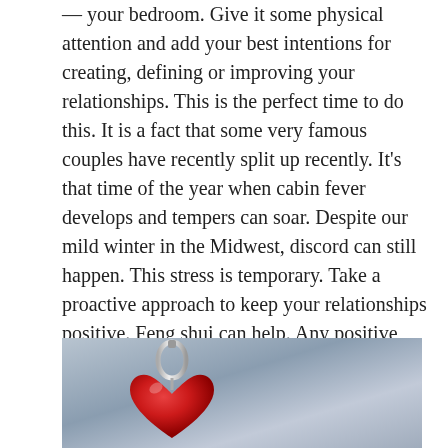— your bedroom. Give it some physical attention and add your best intentions for creating, defining or improving your relationships. This is the perfect time to do this. It is a fact that some very famous couples have recently split up recently. It's that time of the year when cabin fever develops and tempers can soar. Despite our mild winter in the Midwest, discord can still happen. This stress is temporary. Take a proactive approach to keep your relationships positive. Feng shui can help. Any positive changes you make (even if it is just dusting under the bed — unless you are pregnant) or symbolic items you add (like crystal balls to improve your love life) will remind you that harmonious relationships make for a happy life.
[Figure (photo): A red heart-shaped pendant on a silver ring/hanger against a grey background]